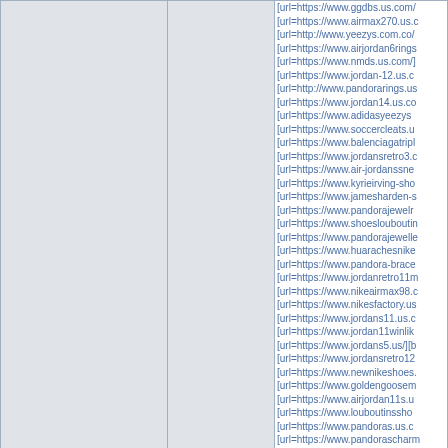| (user column) | (date column) | (links column) |
| --- | --- | --- |
|  |  | [url=https://www.ggdbs.us.com/... |
|  |  | [url=https://www.airmax270.us.... |
|  |  | [url=http://www.yeezys.com.co/... |
|  |  | [url=https://www.airjordan6rings... |
|  |  | [url=https://www.nmds.us.com/]... |
|  |  | [url=https://www.jordan-12.us.c... |
|  |  | [url=http://www.pandorarings.us... |
|  |  | [url=https://www.jordan14.us.co... |
|  |  | [url=https://www.adidasyeezys... |
|  |  | [url=https://www.soccercleats.u... |
|  |  | [url=https://www.balenciagatripl... |
|  |  | [url=https://www.jordansretro3.c... |
|  |  | [url=https://www.air-jordanssne... |
|  |  | [url=https://www.kyrieirving-sho... |
|  |  | [url=https://www.jamesharden-s... |
|  |  | [url=https://www.pandorajewelr... |
|  |  | [url=https://www.shoeslouboutin... |
|  |  | [url=https://www.pandorajewelle... |
|  |  | [url=https://www.huarachesnike... |
|  |  | [url=https://www.pandora-brace... |
|  |  | [url=https://www.jordanretro11m... |
|  |  | [url=https://www.nikeairmax98.c... |
|  |  | [url=https://www.nikesfactory.us... |
|  |  | [url=https://www.jordans11.us.c... |
|  |  | [url=https://www.jordan11winlik... |
|  |  | [url=https://www.jordans5.us/][b... |
|  |  | [url=https://www.jordansretro12... |
|  |  | [url=https://www.newnikeshoes.... |
|  |  | [url=https://www.goldengoosem... |
|  |  | [url=https://www.airjordan11s.u... |
|  |  | [url=https://www.louboutinssho... |
|  |  | [url=https://www.pandoras.us.c... |
|  |  | [url=https://www.pandorascharm... |
|  |  | [url=https://www.yeezys-shoes.... |
| 05.08.2021 12:39 |  | profile |
| jacobcak545 |  | Ultra Boost Adidas |